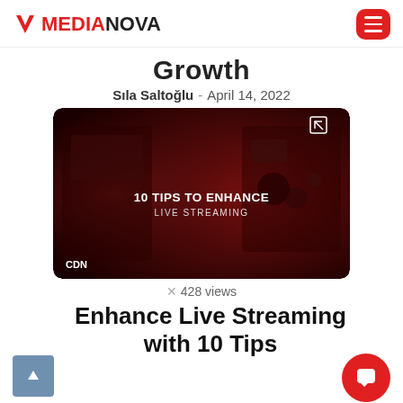MEDIANOVA
Growth
Sıla Saltoğlu - April 14, 2022
[Figure (photo): Thumbnail image showing video/streaming equipment in red tones with text '10 TIPS TO ENHANCE LIVE STREAMING' and a CDN label at bottom left]
428 views
Enhance Live Streaming with 10 Tips